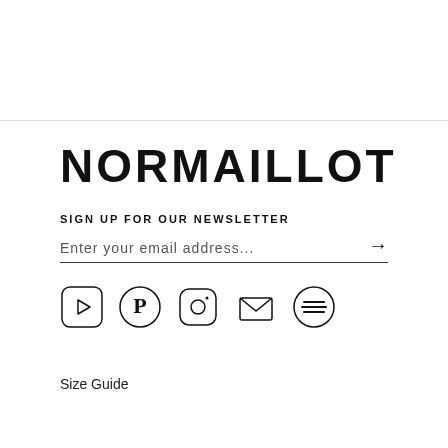NORMAILLOT
SIGN UP FOR OUR NEWSLETTER
Enter your email address...
[Figure (infographic): Social media icons row: YouTube, Pinterest, Instagram, Email, Spotify]
Size Guide